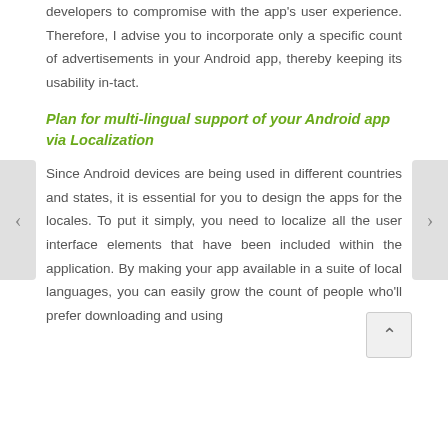to make quick money has motivated developers to compromise with the app's user experience. Therefore, I advise you to incorporate only a specific count of advertisements in your Android app, thereby keeping its usability in-tact.
Plan for multi-lingual support of your Android app via Localization
Since Android devices are being used in different countries and states, it is essential for you to design the apps for the locales. To put it simply, you need to localize all the user interface elements that have been included within the application. By making your app available in a suite of local languages, you can easily grow the count of people who'll prefer downloading and using